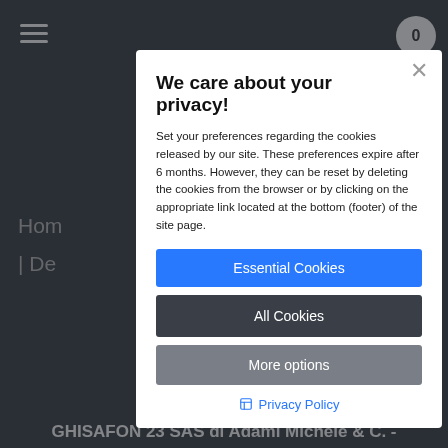[Figure (screenshot): Website cookie consent modal dialog overlaying a dark navigation menu. The modal has a white background with title 'We care about your privacy!', explanatory text, three buttons (Essential Cookies in blue, All Cookies in dark, More options in grey), and a Privacy Policy link. The background shows a dark-themed website with hamburger menu, cart badge showing 0, partially visible navigation links, and footer text 'GHISAFON 23 SAS di Adami Michele & C. -']